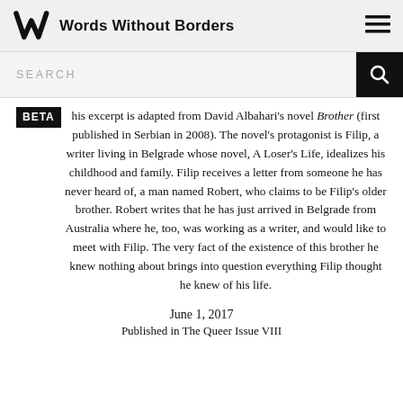Words Without Borders
SEARCH
This excerpt is adapted from David Albahari's novel Brother (first published in Serbian in 2008). The novel's protagonist is Filip, a writer living in Belgrade whose novel, A Loser's Life, idealizes his childhood and family. Filip receives a letter from someone he has never heard of, a man named Robert, who claims to be Filip's older brother. Robert writes that he has just arrived in Belgrade from Australia where he, too, was working as a writer, and would like to meet with Filip. The very fact of the existence of this brother he knew nothing about brings into question everything Filip thought he knew of his life.
June 1, 2017
Published in The Queer Issue VIII